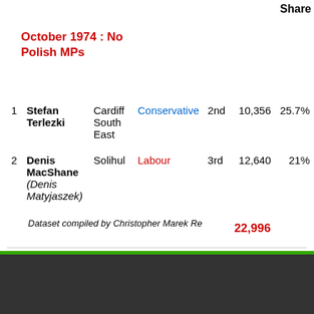Share
October 1974 : No Polish MPs
| # | Name | Constituency | Party | Position | Votes | Share |
| --- | --- | --- | --- | --- | --- | --- |
| 1 | Stefan Terlezki | Cardiff South East | Conservative | 2nd | 10,356 | 25.7% |
| 2 | Denis MacShane (Denis Matyjaszek) | Solihul | Labour | 3rd | 12,640 | 21% |
|  |  |  |  |  | 22,996 |  |
Dataset compiled by Christopher Marek Re
Desktop Version | Top | You are here:
© 2011 - 2021 The Polish Heritage Society UK Ltd. Registerd Charity No. 1143791. Contact: info@polishheritage.co.uk